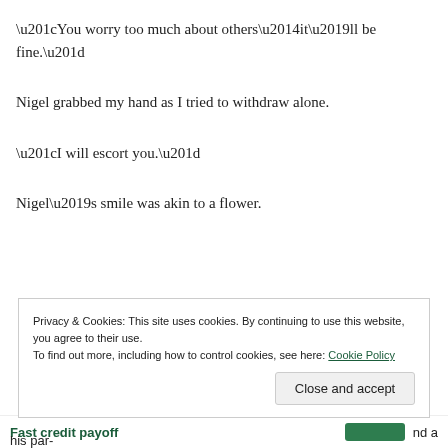“You worry too much about others—it’ll be fine.”
Nigel grabbed my hand as I tried to withdraw alone.
“I will escort you.”
Nigel’s smile was akin to a flower.
Privacy & Cookies: This site uses cookies. By continuing to use this website, you agree to their use.
To find out more, including how to control cookies, see here: Cookie Policy
Close and accept
Fast credit payoff
his par-
nd a